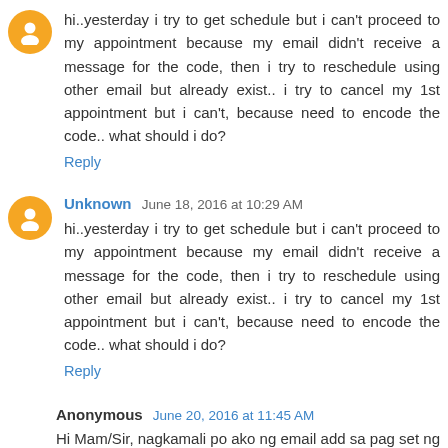hi..yesterday i try to get schedule but i can't proceed to my appointment because my email didn't receive a message for the code, then i try to reschedule using other email but already exist.. i try to cancel my 1st appointment but i can't, because need to encode the code.. what should i do?
Reply
Unknown June 18, 2016 at 10:29 AM
hi..yesterday i try to get schedule but i can't proceed to my appointment because my email didn't receive a message for the code, then i try to reschedule using other email but already exist.. i try to cancel my 1st appointment but i can't, because need to encode the code.. what should i do?
Reply
Anonymous June 20, 2016 at 11:45 AM
Hi Mam/Sir, nagkamali po ako ng email add sa pag set ng appointment, @yahoomail.com ang nailagay ko e wala